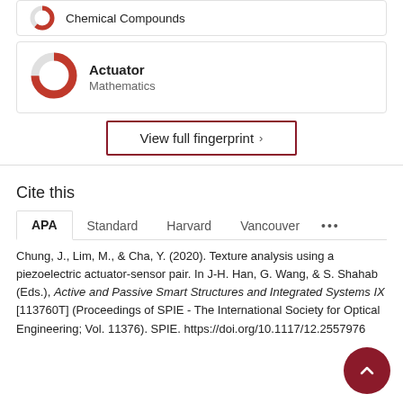[Figure (donut-chart): Partial donut chart for Chemical Compounds (cropped at top of page)]
Chemical Compounds
[Figure (donut-chart): Donut chart icon for Actuator / Mathematics category]
Actuator
Mathematics
View full fingerprint ›
Cite this
APA | Standard | Harvard | Vancouver | ...
Chung, J., Lim, M., & Cha, Y. (2020). Texture analysis using a piezoelectric actuator-sensor pair. In J-H. Han, G. Wang, & S. Shahab (Eds.), Active and Passive Smart Structures and Integrated Systems IX [113760T] (Proceedings of SPIE - The International Society for Optical Engineering; Vol. 11376). SPIE. https://doi.org/10.1117/12.2557976